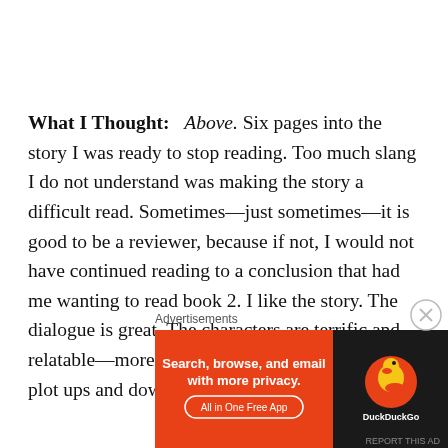What I Thought: Above. Six pages into the story I was ready to stop reading. Too much slang I do not understand was making the story a difficult read. Sometimes—just sometimes—it is good to be a reviewer, because if not, I would not have continued reading to a conclusion that had me wanting to read book 2. I like the story. The dialogue is great. The characters are terrific and relatable—more so for skateboarders. And the plot ups and downs took me on a wild ride.
Advertisements
[Figure (other): DuckDuckGo advertisement banner: orange left side with text 'Search, browse, and email with more privacy.' and 'All in One Free App' button; dark right side with DuckDuckGo duck logo and brand name.]